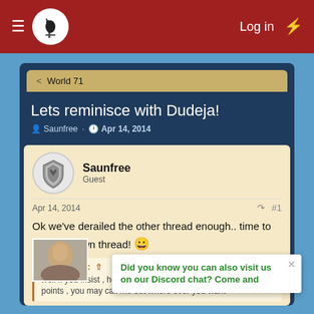≡  [logo]  Log in  ⚡
< World 71
Lets reminisce with Dudeja!
Saunfree · Apr 14, 2014
Saunfree
Guest
Apr 14, 2014   #1
Ok we've derailed the other thread enough.. time to have our own thread! 😀
dudeja said:
well if you insist , here is the long story to short with significant points , you may call me out where ever you want
Did you know you can also visit us on our Discord chat? Come and